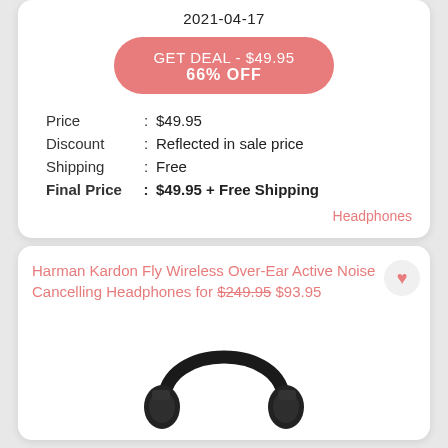2021-04-17
GET DEAL - $49.95
66% OFF
Price : $49.95
Discount : Reflected in sale price
Shipping : Free
Final Price : $49.95 + Free Shipping
Headphones
Harman Kardon Fly Wireless Over-Ear Active Noise Cancelling Headphones for $249.95 $93.95
[Figure (photo): Black Harman Kardon over-ear wireless headphones shown from front, headband visible at top]